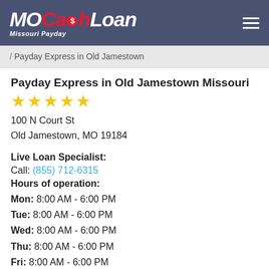MOCashLoan Missouri Payday
/ Payday Express in Old Jamestown
Payday Express in Old Jamestown Missouri
★★★★★
100 N Court St
Old Jamestown, MO 19184
Live Loan Specialist:
Call: (855) 712-6315
Hours of operation:
Mon: 8:00 AM - 6:00 PM
Tue: 8:00 AM - 6:00 PM
Wed: 8:00 AM - 6:00 PM
Thu: 8:00 AM - 6:00 PM
Fri: 8:00 AM - 6:00 PM
Sat: 8:00 AM - 6:00 PM